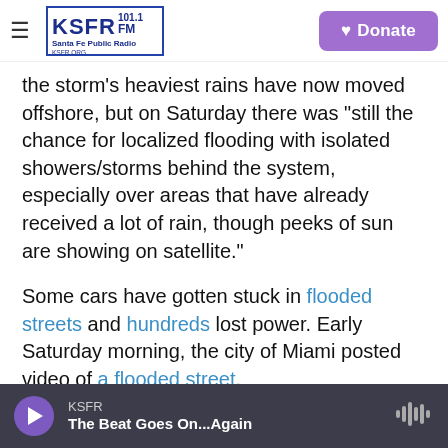KSFR 101.1 FM Santa Fe Public Radio | Donate
the storm's heaviest rains have now moved offshore, but on Saturday there was "still the chance for localized flooding with isolated showers/storms behind the system, especially over areas that have already received a lot of rain, though peeks of sun are showing on satellite."
Some cars have gotten stuck in flooded streets and hundreds lost power. Early Saturday morning, the city of Miami posted video of a flooded street.
Road conditions are extremely dangerous right now. Stay home and don't walk or drive
KSFR — The Beat Goes On...Again